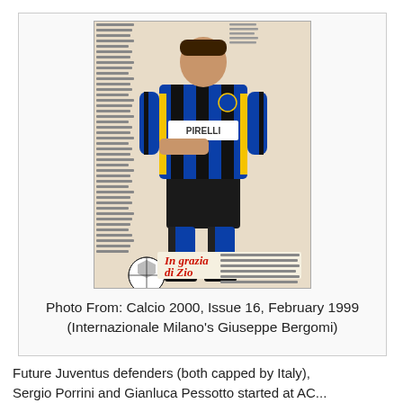[Figure (photo): Magazine photo of Giuseppe Bergomi in Internazionale Milano kit (blue/black stripes, PIRELLI sponsor), posing with a football. The magazine page shows Italian text including 'In grazia di Zio' in red/yellow. From Calcio 2000, Issue 16, February 1999.]
Photo From: Calcio 2000, Issue 16, February 1999 (Internazionale Milano's Giuseppe Bergomi)
Future Juventus defenders (both capped by Italy), Sergio Porrini and Gianluca Pessotto started at AC...